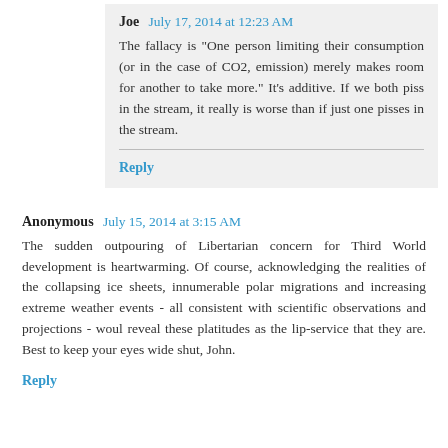Joe  July 17, 2014 at 12:23 AM
The fallacy is "One person limiting their consumption (or in the case of CO2, emission) merely makes room for another to take more." It's additive. If we both piss in the stream, it really is worse than if just one pisses in the stream.
Reply
Anonymous  July 15, 2014 at 3:15 AM
The sudden outpouring of Libertarian concern for Third World development is heartwarming. Of course, acknowledging the realities of the collapsing ice sheets, innumerable polar migrations and increasing extreme weather events - all consistent with scientific observations and projections - woul reveal these platitudes as the lip-service that they are. Best to keep your eyes wide shut, John.
Reply